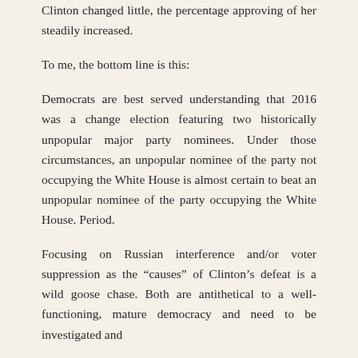Clinton changed little, the percentage approving of her steadily increased.
To me, the bottom line is this:
Democrats are best served understanding that 2016 was a change election featuring two historically unpopular major party nominees. Under those circumstances, an unpopular nominee of the party not occupying the White House is almost certain to beat an unpopular nominee of the party occupying the White House. Period.
Focusing on Russian interference and/or voter suppression as the “causes” of Clinton’s defeat is a wild goose chase. Both are antithetical to a well-functioning, mature democracy and need to be investigated and